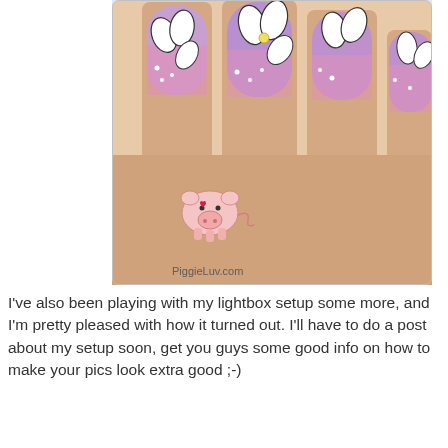[Figure (photo): Close-up photo of a hand with decorated nails featuring purple-pink gradient nail polish with white flower/petal designs and black outlines. A small cartoon pig logo and 'PiggieLuv.com' watermark are visible in the lower left.]
I've also been playing with my lightbox setup some more, and I'm pretty pleased with how it turned out. I'll have to do a post about my setup soon, get you guys some good info on how to make your pics look extra good ;-)
[Figure (photo): Close-up photo of a purple nail polish bottle with a black circular cap/brush holder visible from above.]